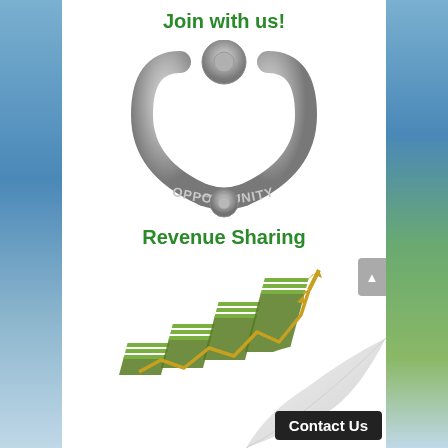Join with us!
[Figure (illustration): A silver/metallic door knocker shaped like a triangular ring with the word OPPORTUNITY spelled out in 3D letters at the bottom, mounted on a circular backplate]
Revenue Sharing
[Figure (illustration): A 3D illustration of stacks of US dollar bills arranged in ascending staircase steps with a golden upward-trending zigzag arrow rising above them, representing revenue growth and sharing]
Contact Us